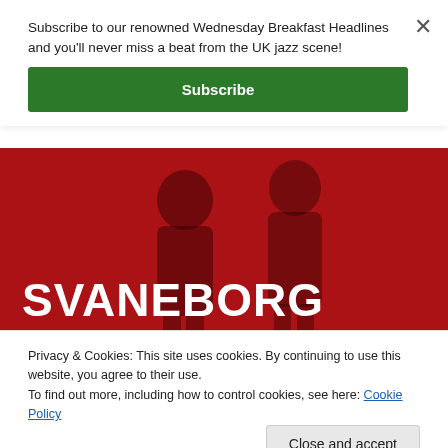Subscribe to our renowned Wednesday Breakfast Headlines and you'll never miss a beat from the UK jazz scene!
Subscribe
[Figure (photo): Red-tinted photo of musicians with large white bold text overlay reading SVANEBORG KARDYB and partial text WEDNESDAY 14th SEPT]
Privacy & Cookies: This site uses cookies. By continuing to use this website, you agree to their use.
To find out more, including how to control cookies, see here: Cookie Policy
Close and accept
Raestar Jazz Showcase